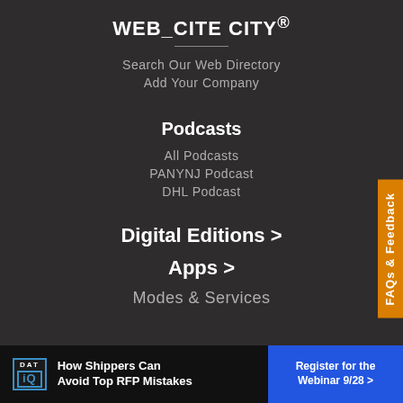WEB_CITE CITY®
Search Our Web Directory
Add Your Company
Podcasts
All Podcasts
PANYNJ Podcast
DHL Podcast
Digital Editions >
Apps >
Modes & Services
FAQs & Feedback
How Shippers Can Avoid Top RFP Mistakes
Register for the Webinar 9/28 >